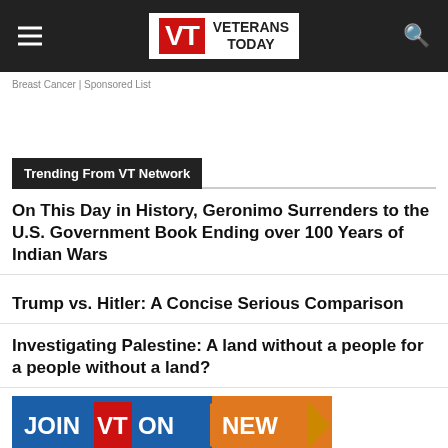Veterans Today
Breast Cancer | Sponsored List
Trending From VT Network
On This Day in History, Geronimo Surrenders to the U.S. Government Book Ending over 100 Years of Indian Wars
Trump vs. Hitler: A Concise Serious Comparison
Investigating Palestine: A land without a people for a people without a land?
[Figure (infographic): JOIN VT ON NEW banner advertisement with blue and orange background]